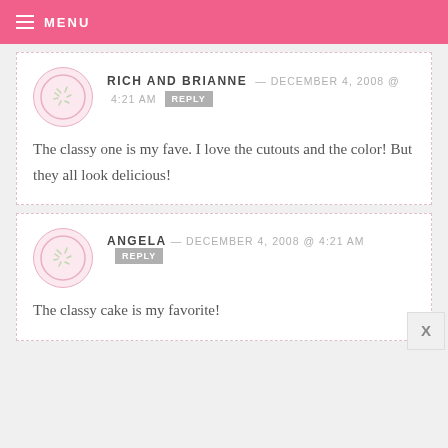MENU
RICH AND BRIANNE — DECEMBER 4, 2008 @ 4:21 AM  REPLY
The classy one is my fave. I love the cutouts and the color! But they all look delicious!
ANGELA — DECEMBER 4, 2008 @ 4:21 AM  REPLY
The classy cake is my favorite!